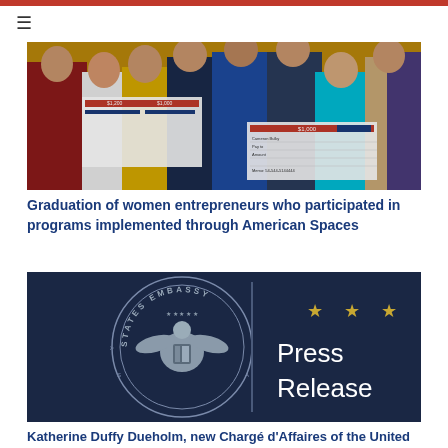[Figure (photo): Group photo of women entrepreneurs holding certificates/checks at a graduation ceremony]
Graduation of women entrepreneurs who participated in programs implemented through American Spaces
[Figure (photo): U.S. Embassy seal on dark navy background with text 'Press Release' and three gold stars]
Katherine Duffy Dueholm, new Chargé d'Affaires of the United States to the Republic of El Salvador